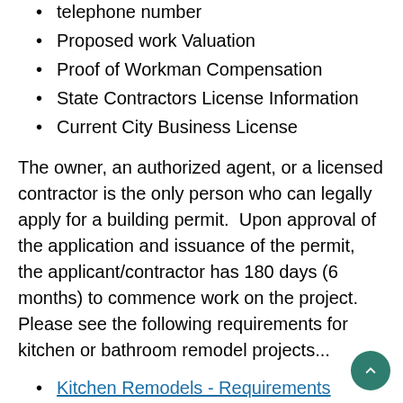telephone number
Proposed work Valuation
Proof of Workman Compensation
State Contractors License Information
Current City Business License
The owner, an authorized agent, or a licensed contractor is the only person who can legally apply for a building permit. Upon approval of the application and issuance of the permit, the applicant/contractor has 180 days (6 months) to commence work on the project. Please see the following requirements for kitchen or bathroom remodel projects...
Kitchen Remodels - Requirements
Bathroom Remodels - Requirements